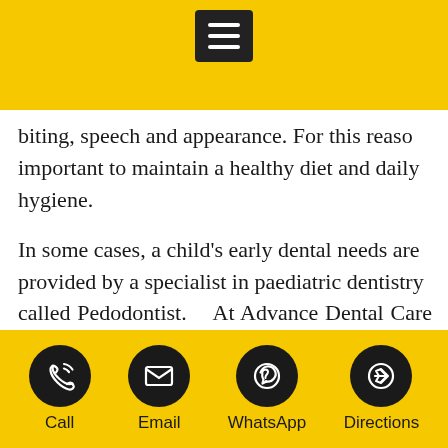[Figure (other): Hamburger menu button (three horizontal white bars on dark background) centered in yellow top bar]
biting, speech and appearance. For this reason important to maintain a healthy diet and daily hygiene.
In some cases, a child's early dental needs are provided by a specialist in paediatric dentistry called Pedodontist.   At Advance Dental Care w provide outstanding specialised dental care fo infants, toddlers and teenagers. We fully appre that some children dread going to the dentist a all know, unpleasant dental appointments at a age can have an impact on how you feel abou
Call   Email   WhatsApp   Directions